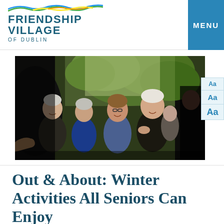[Figure (logo): Friendship Village of Dublin logo with colorful stripe above text]
MENU
[Figure (photo): Group of senior women smiling and looking upward outdoors, surrounded by trees and rock formation]
Out & About: Winter Activities All Seniors Can Enjoy